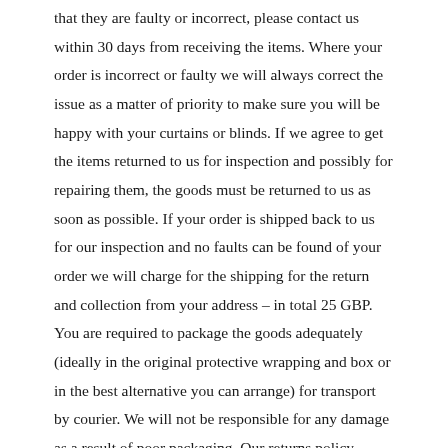that they are faulty or incorrect, please contact us within 30 days from receiving the items. Where your order is incorrect or faulty we will always correct the issue as a matter of priority to make sure you will be happy with your curtains or blinds. If we agree to get the items returned to us for inspection and possibly for repairing them, the goods must be returned to us as soon as possible. If your order is shipped back to us for our inspection and no faults can be found of your order we will charge for the shipping for the return and collection from your address – in total 25 GBP. You are required to package the goods adequately (ideally in the original protective wrapping and box or in the best alternative you can arrange) for transport by courier. We will not be responsible for any damage as a result of poor packaging. Our returns policy complies with the Consumer Protection (distance selling) regulation. We will process a refund if your order cannot be completed.
If you are unhappy with your order because you have changed your mind, or don't like the fabric or style you have chosen, we are unable to offer you